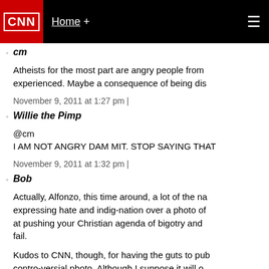CNN | Home +
cm
Atheists for the most part are angry people from experienced. Maybe a consequence of being dis
November 9, 2011 at 1:27 pm |
Willie the Pimp
@cm
I AM NOT ANGRY DAM MIT. STOP SAYING THAT
November 9, 2011 at 1:32 pm |
Bob
Actually, Alfonzo, this time around, a lot of the na expressing hate and indig-nation over a photo of at pushing your Christian agenda of bigotry and fail.
Kudos to CNN, though, for having the guts to pub contro-versial photo. Although I suppose it will o